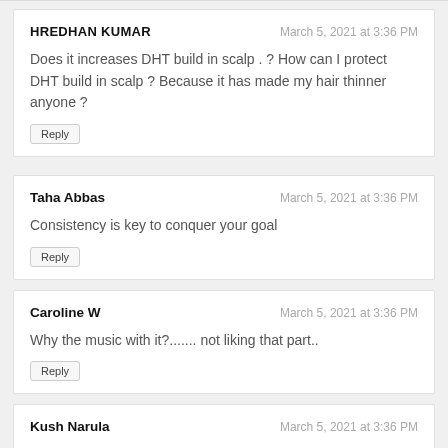HREDHAN KUMAR — March 5, 2021 at 3:36 PM
Does it increases DHT build in scalp . ? How can I protect DHT build in scalp ? Because it has made my hair thinner anyone ?
[Reply]
Taha Abbas — March 5, 2021 at 3:36 PM
Consistency is key to conquer your goal
[Reply]
Caroline W — March 5, 2021 at 3:36 PM
Why the music with it?....... not liking that part..
[Reply]
Kush Narula — March 5, 2021 at 3:36 PM